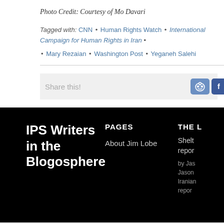Photo Credit: Courtesy of Mo Davari
Tagged with: CNN • Human Rights Watch • International Campaign for Human Rights in Iran • Mary Rezaian • Washington Post • Yeganeh Salehi
Share this!
IPS Writers in the Blogosphere
PAGES
About Jim Lobe
THE L
Shelt repor by Jas Jason Iranian repor